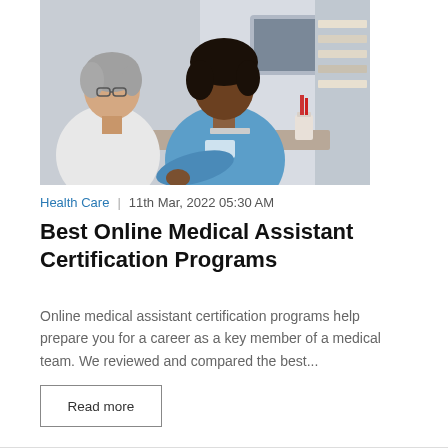[Figure (photo): Two women in a medical office setting — an older woman with gray hair in a white coat and a younger woman in blue scrubs at a reception desk with a computer monitor in the background]
Health Care  |  11th Mar, 2022 05:30 AM
Best Online Medical Assistant Certification Programs
Online medical assistant certification programs help prepare you for a career as a key member of a medical team. We reviewed and compared the best...
Read more